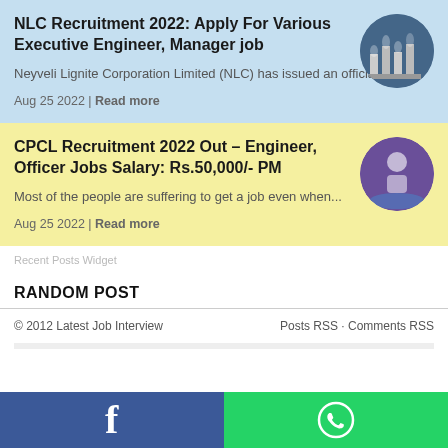NLC Recruitment 2022: Apply For Various Executive Engineer, Manager job
Neyveli Lignite Corporation Limited (NLC) has issued an official...
Aug 25 2022 | Read more
CPCL Recruitment 2022 Out – Engineer, Officer Jobs Salary: Rs.50,000/- PM
Most of the people are suffering to get a job even when...
Aug 25 2022 | Read more
Recent Posts Widget
RANDOM POST
© 2012 Latest Job Interview    Posts RSS · Comments RSS